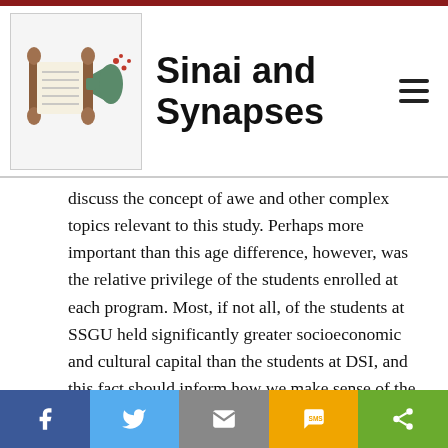[Figure (logo): Sinai and Synapses website header logo with Torah scroll and megaphone icon]
discuss the concept of awe and other complex topics relevant to this study. Perhaps more important than this age difference, however, was the relative privilege of the students enrolled at each program. Most, if not all, of the students at SSGU held significantly greater socioeconomic and cultural capital than the students at DSI, and this fact should inform how we make sense of the observed differences between students at the two sites.
For instance, it was probably not a coincidence that I observed the DSI instructor pushing a pragmatic
[Figure (other): Social sharing footer bar with Facebook, Twitter, Email, SMS, and Share buttons]